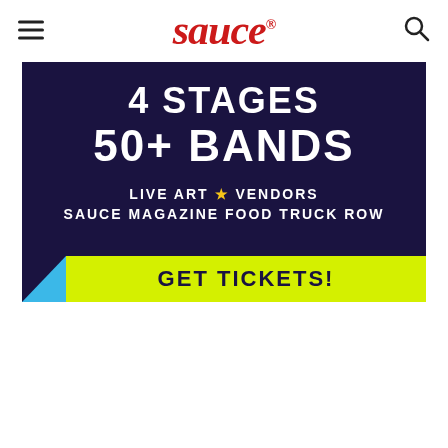sauce
[Figure (other): Promotional banner advertisement with dark navy background showing '4 STAGES 50+ BANDS LIVE ART * VENDORS SAUCE MAGAZINE FOOD TRUCK ROW' with a yellow and blue 'GET TICKETS!' call-to-action bar at the bottom.]